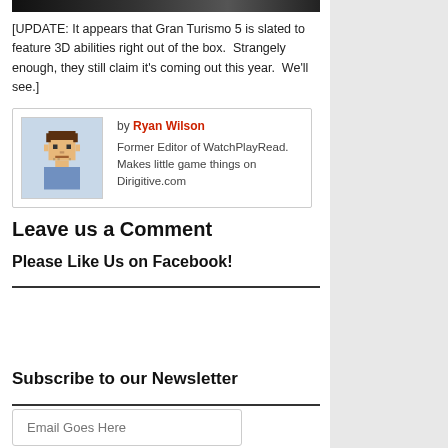[Figure (photo): Dark hero image strip at top of article (partial view of a car/Gran Turismo related image)]
[UPDATE: It appears that Gran Turismo 5 is slated to feature 3D abilities right out of the box.  Strangely enough, they still claim it's coming out this year.  We'll see.]
by Ryan Wilson
Former Editor of WatchPlayRead. Makes little game things on Dirigitive.com
Leave us a Comment
Please Like Us on Facebook!
Subscribe to our Newsletter
Email Goes Here